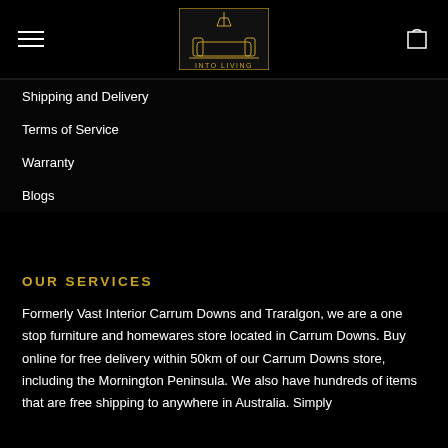[Figure (logo): Into Living logo — dark box with furniture icon and text 'INTO LIVING']
Shipping and Delivery
Terms of Service
Warranty
Blogs
OUR SERVICES
Formerly Vast Interior Carrum Downs and Traralgon, we are a one stop furniture and homewares store located in Carrum Downs. Buy online for free delivery within 50km of our Carrum Downs store, including the Mornington Peninsula. We also have hundreds of items that are free shipping to anywhere in Australia. Simply